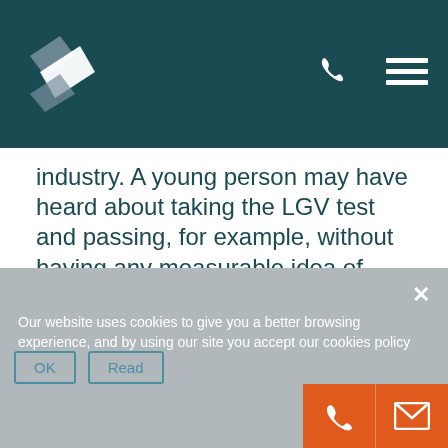Navigation header with logo, phone and menu icons
industry. A young person may have heard about taking the LGV test and passing, for example, without having any measurable idea of what a professional driving career would be like. Think Logistics might be able to influence that young person by answering questions and explaining the details of the job.
Think Logistics is an excellent campaign that
Our website uses cookies to give you a better browsing experience, and by using our site you accept our cookies policy